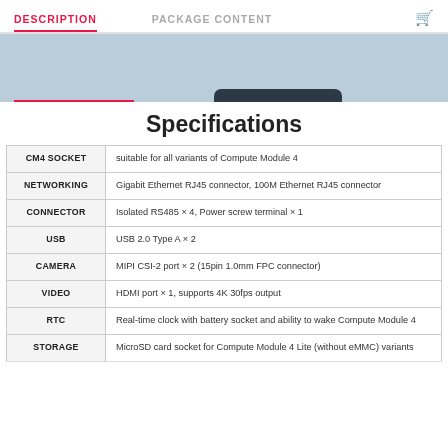DESCRIPTION   PACKAGE CONTENT
[Figure (illustration): Hero/banner image area with light blue background, showing partial product tab and nav underline]
Specifications
|  |  |
| --- | --- |
| CM4 SOCKET | suitable for all variants of Compute Module 4 |
| NETWORKING | Gigabit Ethernet RJ45 connector, 100M Ethernet RJ45 connector |
| CONNECTOR | Isolated RS485 × 4, Power screw terminal × 1 |
| USB | USB 2.0 Type A × 2 |
| CAMERA | MIPI CSI-2 port × 2 (15pin 1.0mm FPC connector) |
| VIDEO | HDMI port × 1, supports 4K 30fps output |
| RTC | Real-time clock with battery socket and ability to wake Compute Module 4 |
| STORAGE | MicroSD card socket for Compute Module 4 Lite (without eMMC) variants |